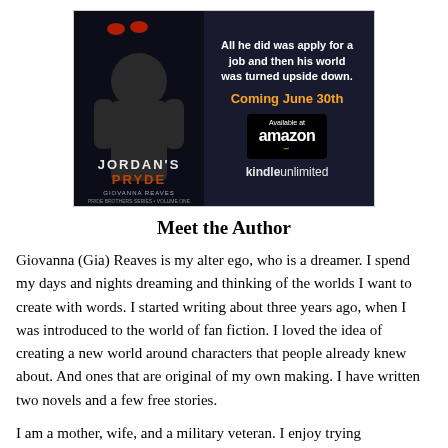[Figure (illustration): Book advertisement for Jordan's Pryde by Giovanna Reaves. Dark background with a muscular male figure on the left side of the ad. Red glowing eyes visible at the top. Text on the right reads: 'All he did was apply for a job and then his world was turned upside down.' with 'Coming June 30th' in orange, an Amazon box with 'Available at amazon' logo and smile, and 'kindleunlimited' at the bottom.]
Meet the Author
Giovanna (Gia) Reaves is my alter ego, who is a dreamer. I spend my days and nights dreaming and thinking of the worlds I want to create with words. I started writing about three years ago, when I was introduced to the world of fan fiction. I loved the idea of creating a new world around characters that people already knew about. And ones that are original of my own making. I have written two novels and a few free stories.
I am a mother, wife, and a military veteran. I enjoy trying